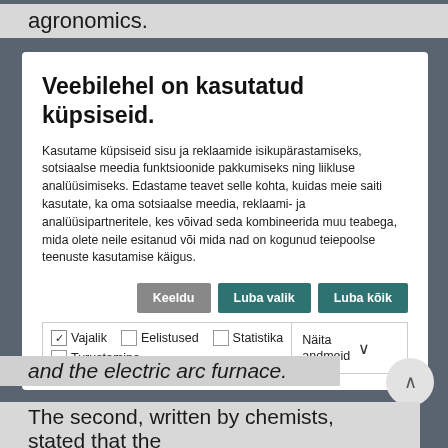agronomics.
Veebilehel on kasutatud küpsiseid.
Kasutame küpsiseid sisu ja reklaamide isikupärastamiseks, sotsiaalse meedia funktsioonide pakkumiseks ning liikluse analüüsimiseks. Edastame teavet selle kohta, kuidas meie saiti kasutate, ka oma sotsiaalse meedia, reklaami- ja analüüsipartneritele, kes võivad seda kombineerida muu teabega, mida olete neile esitanud või mida nad on kogunud teiepoolse teenuste kasutamise käigus.
Keeldu | Luba valik | Luba kõik
Vajalik  Eelistused  Statistika  Turustamine  Näita andmeid
and the electric arc furnace.
The second, written by chemists, stated that the